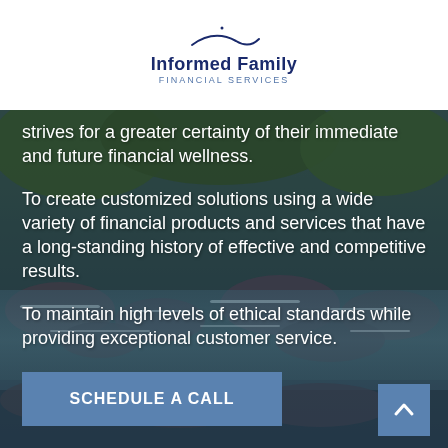[Figure (logo): Informed Family Financial Services logo with swoosh graphic above company name]
strives for a greater certainty of their immediate and future financial wellness.
To create customized solutions using a wide variety of financial products and services that have a long-standing history of effective and competitive results.
To maintain high levels of ethical standards while providing exceptional customer service.
SCHEDULE A CALL
[Figure (illustration): Back-to-top scroll button with upward chevron icon on steel blue background, bottom right corner]